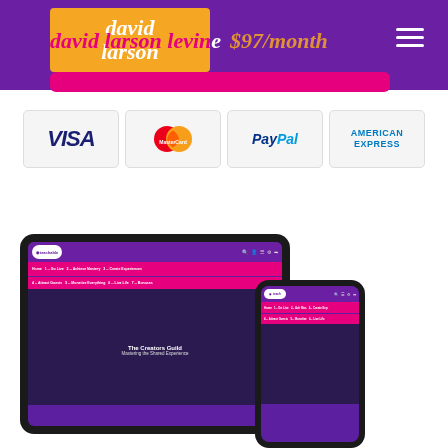david larson levine $97/month
[Figure (screenshot): Payment methods: VISA, MasterCard, PayPal, American Express]
[Figure (screenshot): Tablet and phone mockup showing The Creators Guild course platform with navigation menus: Home, 1 -- Go Live, 2 -- Achieve Mastery, 3 -- Create Experiences, 4 -- Attract Guests, 5 -- Monetize Everything, 6 -- Live Life, 7 -- Bonuses. Content shows 'The Creators Guild - Mastering the Shared Experience']